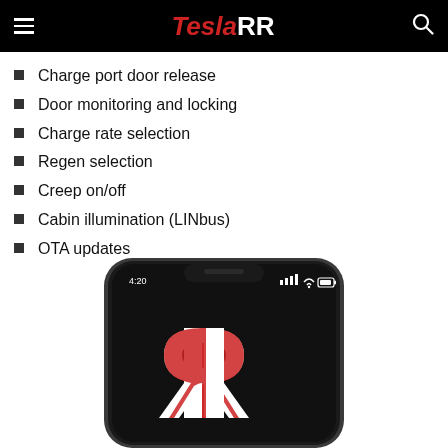TeslaRR
Charge port door release
Door monitoring and locking
Charge rate selection
Regen selection
Creep on/off
Cabin illumination (LINbus)
OTA updates
[Figure (photo): Smartphone showing the TeslaRR app logo (a stylized RR monogram in red and white on a black screen), displayed at 4:20 time, partially cropped at bottom of page.]